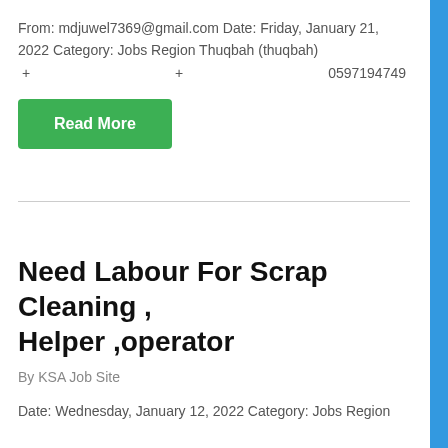From: mdjuwel7369@gmail.com Date: Friday, January 21, 2022 Category: Jobs Region Thuqbah (thuqbah)
+ + 0597194749
Read More
Need Labour For Scrap Cleaning , Helper ,operator
By KSA Job Site
Date: Wednesday, January 12, 2022 Category: Jobs Region